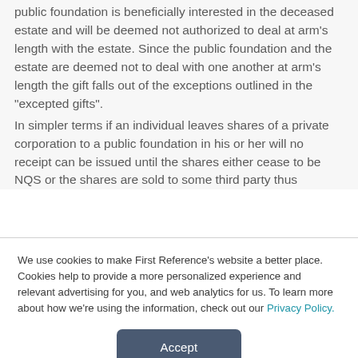public foundation is beneficially interested in the deceased estate and will be deemed not authorized to deal at arm's length with the estate. Since the public foundation and the estate are deemed not to deal with one another at arm's length the gift falls out of the exceptions outlined in the "excepted gifts". In simpler terms if an individual leaves shares of a private corporation to a public foundation in his or her will no receipt can be issued until the shares either cease to be NQS or the shares are sold to some third party thus
We use cookies to make First Reference's website a better place. Cookies help to provide a more personalized experience and relevant advertising for you, and web analytics for us. To learn more about how we're using the information, check out our Privacy Policy.